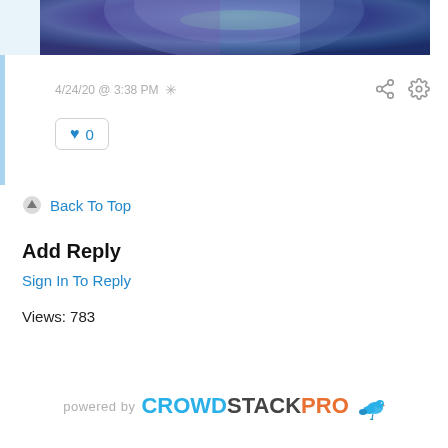[Figure (photo): Partial view of a circular artwork with blue, purple, and teal tones, cropped at the top of the page]
4/24/20 @ 3:38 PM *
[Figure (other): Share icon (network share symbol) and settings gear icon in gray]
[Figure (other): Like button with blue heart icon and count 0, inside a rounded rectangle border]
Back To Top
Add Reply
Sign In To Reply
Views: 783
powered by CROWDSTACKPRO